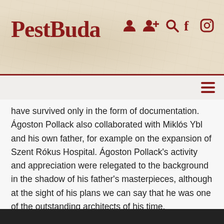[Figure (screenshot): PestBuda website header with logo and navigation icons on a vintage map background]
have survived only in the form of documentation. Ágoston Pollack also collaborated with Miklós Ybl and his own father, for example on the expansion of Szent Rókus Hospital. Ágoston Pollack's activity and appreciation were relegated to the background in the shadow of his father's masterpieces, although at the sight of his plans we can say that he was one of the outstanding architects of his time.
[Figure (photo): Partial view of a historical building facade, black and white or sepia-toned photograph at the bottom of the page]